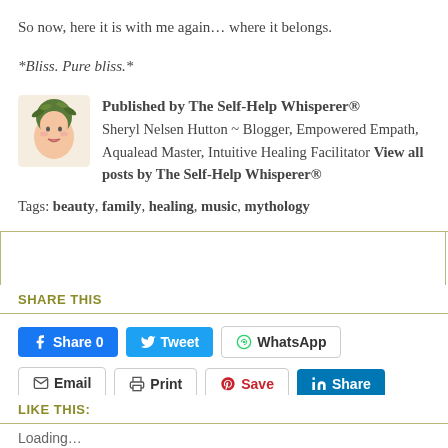So now, here it is with me again... where it belongs.
*Bliss. Pure bliss.*
Published by The Self-Help Whisperer® Sheryl Nelsen Hutton ~ Blogger, Empowered Empath, Aqualead Master, Intuitive Healing Facilitator View all posts by The Self-Help Whisperer®
Tags: beauty, family, healing, music, mythology
SHARE THIS
Share 0  Tweet  WhatsApp  Email  Print  Save  Share
LIKE THIS:
Loading...